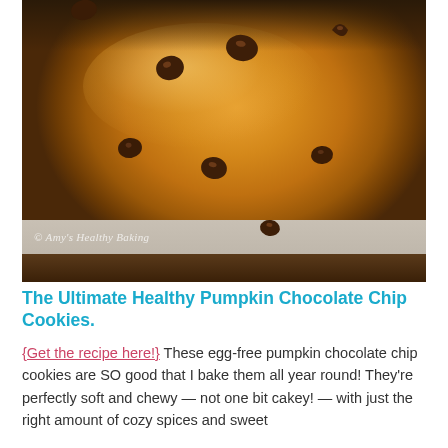[Figure (photo): Close-up photo of a pumpkin chocolate chip cookie with chocolate chips on top, sitting on parchment paper over a wooden surface. Watermark reads '© Amy's Healthy Baking'.]
The Ultimate Healthy Pumpkin Chocolate Chip Cookies.
{Get the recipe here!} These egg-free pumpkin chocolate chip cookies are SO good that I bake them all year round! They're perfectly soft and chewy — not one bit cakey! — with just the right amount of cozy spices and sweet